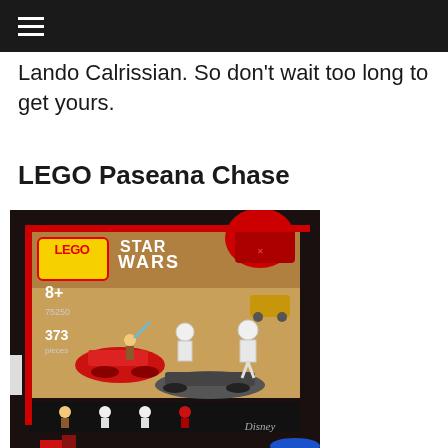≡
Lando Calrissian. So don't wait too long to get yours.
LEGO Paseana Chase
[Figure (photo): LEGO Star Wars Paseana Chase set box (set 75250), showing minifigures including Rey and Stormtroopers, speeder bikes on a desert planet background. Age 8+, 373 pieces. Disney branding visible. Box art shows action scene on Pasaana.]